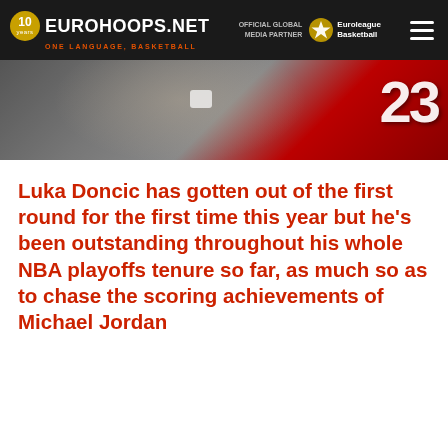EUROHOOPS.NET — ONE LANGUAGE, BASKETBALL — OFFICIAL GLOBAL MEDIA PARTNER Euroleague Basketball
[Figure (photo): Sports photo strip showing basketball players, one wearing a red jersey with number 23]
Luka Doncic has gotten out of the first round for the first time this year but he's been outstanding throughout his whole NBA playoffs tenure so far, as much so as to chase the scoring achievements of Michael Jordan